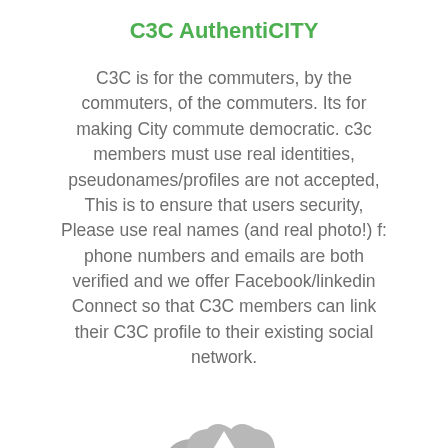C3C AuthentiCITY
C3C is for the commuters, by the commuters, of the commuters. Its for making City commute democratic. c3c members must use real identities, pseudonames/profiles are not accepted, This is to ensure that users security, Please use real names (and real photo!) f: phone numbers and emails are both verified and we offer Facebook/linkedin Connect so that C3C members can link their C3C profile to their existing social network.
[Figure (illustration): Cloud upload icon — a grey cloud shape with an upward-pointing arrow in the center]